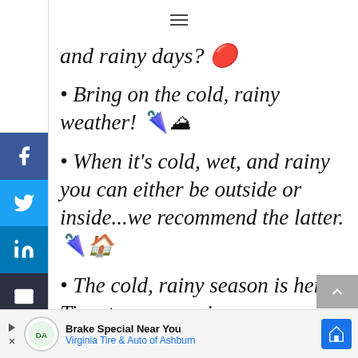≡ (hamburger menu icon)
and rainy days? ☉
• Bring on the cold, rainy weather! 🌂⛰
• When it's cold, wet, and rainy you can either be outside or inside...we recommend the latter. 🌂🏠
• The cold, rainy season is here. Time to wrap up in scarves
Brake Special Near You
Virginia Tire & Auto of Ashburn